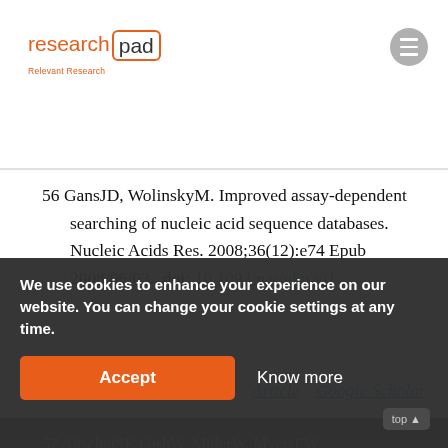[Figure (logo): ResearchPad logo with orange border box and tagline 'Relevant Research']
56 GansJD, WolinskyM. Improved assay-dependent searching of nucleic acid sequence databases. Nucleic Acids Res. 2008;36(12):e74 Epub 2008/06/03. doi: 10.1093/nar/gkn301 .
Article   Google Scholar
57 AltschulSF, GishW, MillerW, MyersEW, ... basic local alignment search tool. Journal of molecular biology. 1990;215(3):403-10. doi: 10.1016/S0022-2836(05)...
We use cookies to enhance your experience on our website. You can change your cookie settings at any time.
Accept   Know more